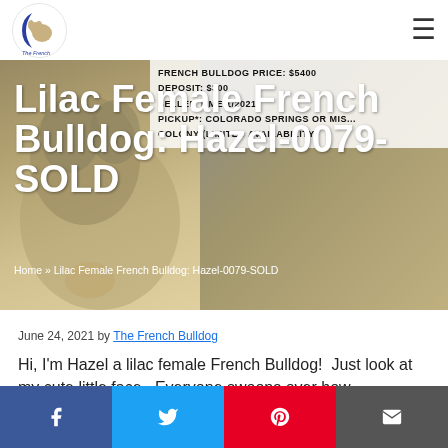[Figure (screenshot): Website header with The French Bulldog logo (crescent moon with bulldog) on left, hamburger menu icon on right, white background nav bar]
[Figure (photo): Hero banner showing a lilac French Bulldog puppy with pricing info overlay: FRENCH BULLDOG PRICE $5400, DEPOSIT $300, SELLER TIME 1/2021, PICKUP: COLORADO SPRINGS OR MISS..., COLONY (LIMITED AVAILABILITY). Title text overlaid: Lilac Female French Bulldog: Hazel-0079-SOLD]
Lilac Female French Bulldog: Hazel-0079-SOLD
Home » Lilac Female French Bulldog: Hazel-0079-SOLD
June 24, 2021 by The French Bulldog
Hi, I'm Hazel a lilac female French Bulldog!  Just look at my cute little face.  Everyone swoons over how...